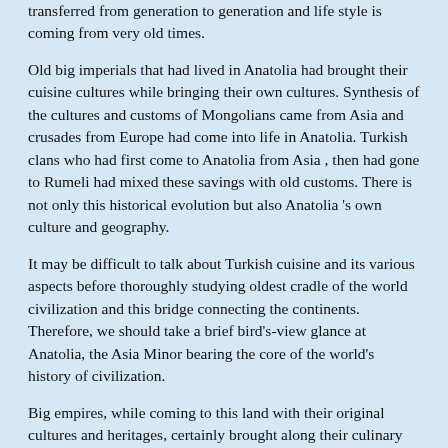transferred from generation to generation and life style is coming from very old times.
Old big imperials that had lived in Anatolia had brought their cuisine cultures while bringing their own cultures. Synthesis of the cultures and customs of Mongolians came from Asia and crusades from Europe had come into life in Anatolia. Turkish clans who had first come to Anatolia from Asia , then had gone to Rumeli had mixed these savings with old customs. There is not only this historical evolution but also Anatolia 's own culture and geography.
It may be difficult to talk about Turkish cuisine and its various aspects before thoroughly studying oldest cradle of the world civilization and this bridge connecting the continents. Therefore, we should take a brief bird's-view glance at Anatolia, the Asia Minor bearing the core of the world's history of civilization.
Big empires, while coming to this land with their original cultures and heritages, certainly brought along their culinary cultures, too. The Mongolian troops repeatedly coming from Anatolia from Asia, Romans' and Crusaders' campaigns from Europe brought their cultures, mores and customs. Meanwhile, the Turkish tribes from